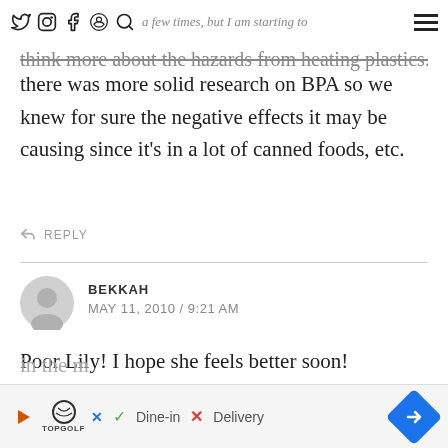Social icons navigation bar with hamburger menu
think more about the hazards from heating plastics. I wish there was more solid research on BPA so we knew for sure the negative effects it may be causing since it's in a lot of canned foods, etc.
REPLY
BEKKAH
MAY 11, 2010 / 9:21 AM
Poor Lily! I hope she feels better soon!

I have honestly never heard of OIAJ. It doesn't sound like something I would do though. If the container I'm using doesn't expressly say "microwave safe" I'm not putting it in the m
REPLY
[Figure (infographic): Ad banner: Topgolf advertisement with play icon, logo, Dine-in checkmark, Delivery X mark, and blue arrow navigation icon]